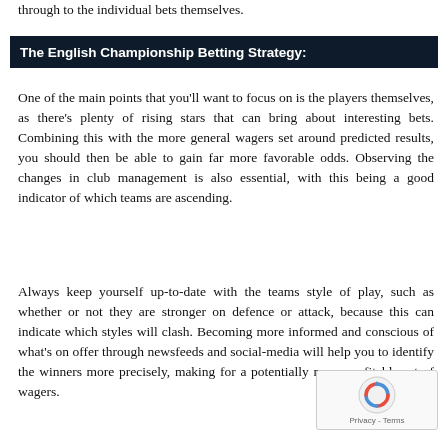through to the individual bets themselves.
The English Championship Betting Strategy:
One of the main points that you'll want to focus on is the players themselves, as there's plenty of rising stars that can bring about interesting bets. Combining this with the more general wagers set around predicted results, you should then be able to gain far more favorable odds. Observing the changes in club management is also essential, with this being a good indicator of which teams are ascending.
Always keep yourself up-to-date with the teams style of play, such as whether or not they are stronger on defence or attack, because this can indicate which styles will clash. Becoming more informed and conscious of what's on offer through newsfeeds and social-media will help you to identify the winners more precisely, making for a potentially more profitable set of wagers.